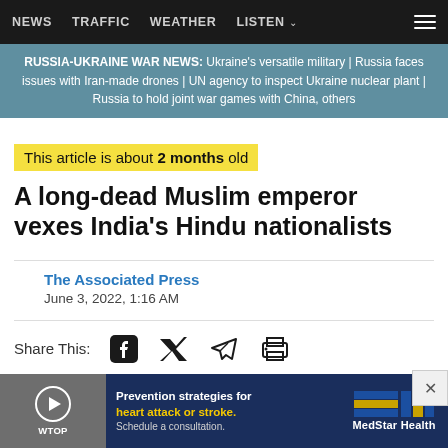NEWS  TRAFFIC  WEATHER  LISTEN
RUSSIA-UKRAINE WAR NEWS: Ukraine's versatile military | Russia faces issues with Iran-made drones | UN agency to inspect Ukraine nuclear plant | Russia to hold joint war games with China, others
This article is about 2 months old
A long-dead Muslim emperor vexes India's Hindu nationalists
The Associated Press
June 3, 2022, 1:16 AM
Share This:
[Figure (infographic): Advertisement banner: Prevention strategies for heart attack or stroke. Schedule a consultation. MedStar Health logo.]